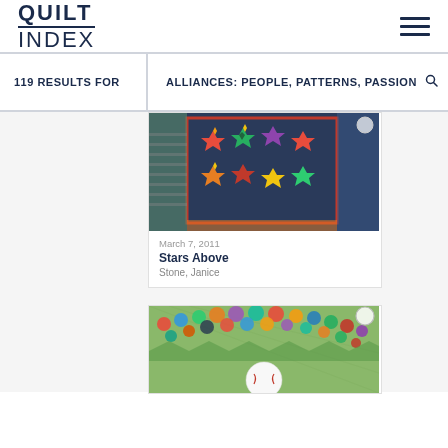[Figure (logo): Quilt Index logo with hamburger menu]
119 RESULTS FOR
ALLIANCES: PEOPLE, PATTERNS, PASSION
[Figure (photo): Stars Above quilt - dark background with colorful star patterns]
March 7, 2011
Stars Above
Stone, Janice
[Figure (photo): Second quilt with marbles/circles pattern and baseball motif on green background]